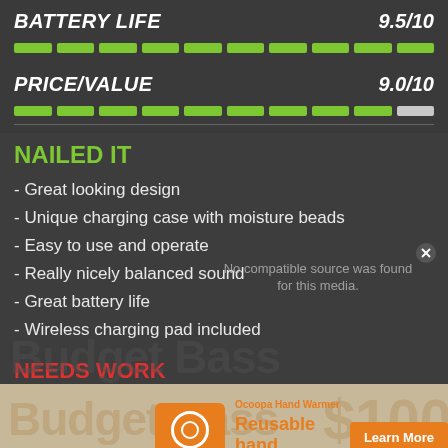BATTERY LIFE — 9.5/10
[Figure (infographic): Green segmented rating bar for Battery Life, all segments filled green (9.5/10)]
PRICE/VALUE — 9.0/10
[Figure (infographic): Green segmented rating bar for Price/Value, 9 segments green and 1 gray (9.0/10)]
NAILED IT
- Great looking design
- Unique charging case with moisture beads
- Easy to use and operate
- Really nicely balanced sound
- Great battery life
- Wireless charging pad included
NEEDS WORK
[Figure (screenshot): Video player overlay showing 'No compatible source was found for this media.' with Budget Bass watermark]
[Figure (infographic): Advertisement for Ocoopa Hand Warmer: Reusable hand warmer, Learn More button, $100 price shown in background]